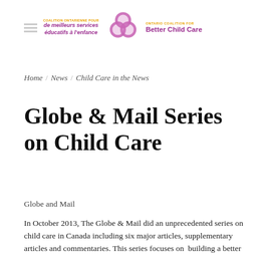[Figure (logo): Ontario Coalition for Better Child Care logo with purple circular graphic, French and English text]
Home / News / Child Care in the News
Globe & Mail Series on Child Care
Globe and Mail
In October 2013, The Globe & Mail did an unprecedented series on child care in Canada including six major articles, supplementary articles and commentaries. This series focuses on  building a better